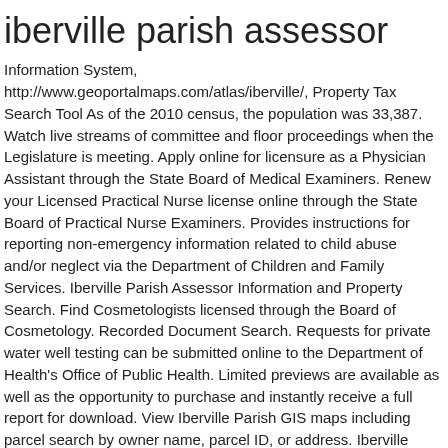iberville parish assessor
Information System, http://www.geoportalmaps.com/atlas/iberville/, Property Tax Search Tool As of the 2010 census, the population was 33,387. Watch live streams of committee and floor proceedings when the Legislature is meeting. Apply online for licensure as a Physician Assistant through the State Board of Medical Examiners. Renew your Licensed Practical Nurse license online through the State Board of Practical Nurse Examiners. Provides instructions for reporting non-emergency information related to child abuse and/or neglect via the Department of Children and Family Services. Iberville Parish Assessor Information and Property Search. Find Cosmetologists licensed through the Board of Cosmetology. Recorded Document Search. Requests for private water well testing can be submitted online to the Department of Health's Office of Public Health. Limited previews are available as well as the opportunity to purchase and instantly receive a full report for download. View Iberville Parish GIS maps including parcel search by owner name, parcel ID, or address. Iberville Parish, LA > assessors office in Iberville Parish, LA | 8 results Sort: Best Match; A to Z; Rating; Distance Assessor's. Tee off at any of 15 tournament-quality golf courses while experiencing Louisiana's diverse topography. Iberville